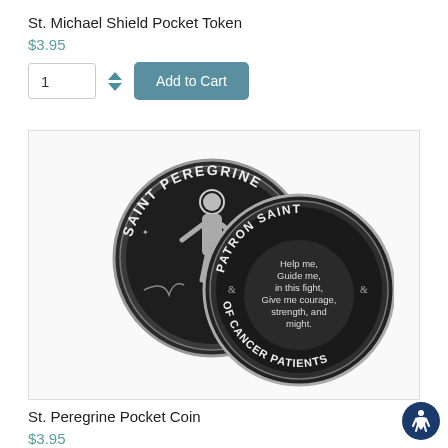St. Michael Shield Pocket Token
$3.95
[Figure (screenshot): Quantity selector with up/down arrows and Add to Cart button]
[Figure (photo): Two Saint Peregrine pocket coins showing front (saint figure with SAINT PEREGRINE text) and back (PATRON SAINT OF CANCER PATIENTS with prayer text: Help me, Guide me, in this fight, Give me courage, strength, and might.)]
St. Peregrine Pocket Coin
$3.95